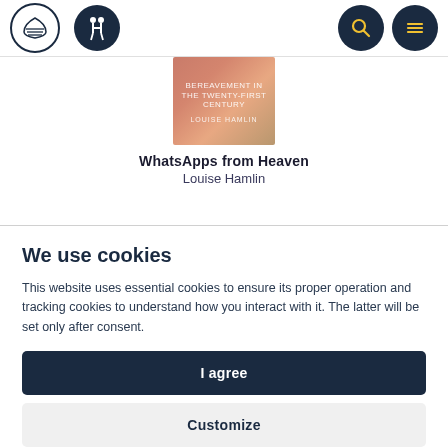Navigation header with logo, accessibility icon, search and menu buttons
[Figure (illustration): Book cover for WhatsApps from Heaven by Louise Hamlin - pink/terracotta gradient cover]
WhatsApps from Heaven
Louise Hamlin
We use cookies
This website uses essential cookies to ensure its proper operation and tracking cookies to understand how you interact with it. The latter will be set only after consent.
I agree
Customize